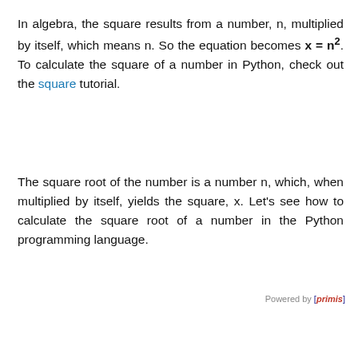In algebra, the square results from a number, n, multiplied by itself, which means n. So the equation becomes x = n². To calculate the square of a number in Python, check out the square tutorial.
The square root of the number is a number n, which, when multiplied by itself, yields the square, x. Let's see how to calculate the square root of a number in the Python programming language.
Powered by [primis]